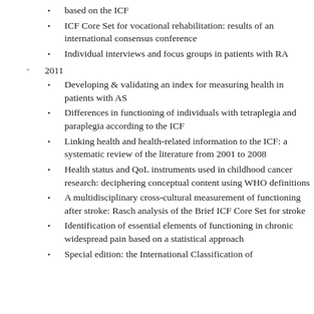based on the ICF
ICF Core Set for vocational rehabilitation: results of an international consensus conference
Individual interviews and focus groups in patients with RA
2011
Developing & validating an index for measuring health in patients with AS
Differences in functioning of individuals with tetraplegia and paraplegia according to the ICF
Linking health and health-related information to the ICF: a systematic review of the literature from 2001 to 2008
Health status and QoL instruments used in childhood cancer research: deciphering conceptual content using WHO definitions
A multidisciplinary cross-cultural measurement of functioning after stroke: Rasch analysis of the Brief ICF Core Set for stroke
Identification of essential elements of functioning in chronic widespread pain based on a statistical approach
Special edition: the International Classification of